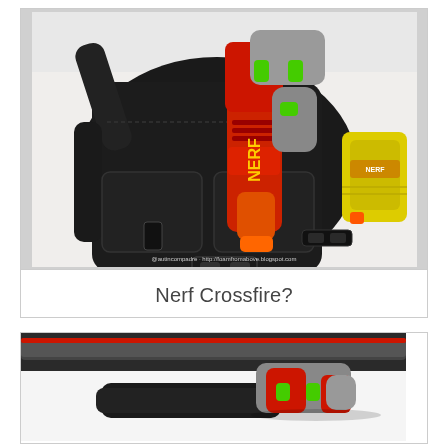[Figure (photo): A black tactical shoulder bag/holster with a red Nerf blaster placed on top of it. A yellow Nerf clip/magazine is visible on the right side. The photo is taken from above on a white surface. Watermark: @autincompadre · http://foamfromabove.blogspot.com]
Nerf Crossfire?
[Figure (photo): Close-up photo of a red and gray Nerf Crossfire blaster with green accents, mounted in a black tactical holster/shoulder rig on a white surface with a dark background.]